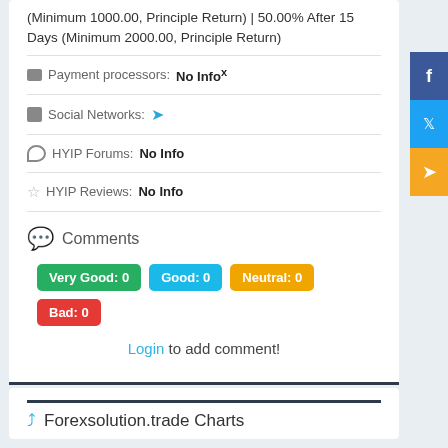(Minimum 1000.00, Principle Return) | 50.00% After 15 Days (Minimum 2000.00, Principle Return)
Payment processors: No Infox
Social Networks:
HYIP Forums: No Info
HYIP Reviews: No Info
Comments
Very Good: 0  Good: 0  Neutral: 0  Bad: 0
Login to add comment!
Forexsolution.trade Charts